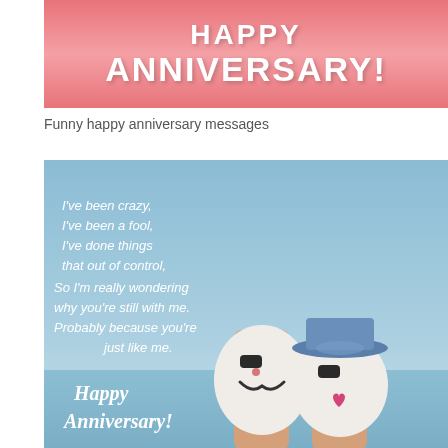[Figure (illustration): Pink banner with bold white text reading HAPPY ANNIVERSARY! on a pink gradient background]
Funny happy anniversary messages
[Figure (photo): Anniversary greeting card image showing two slippers with funny faces (sunglasses, mustache, lipstick, hat) held up against a blue sky/sea background, with white text reading: I've been crazy, I've been a fool, I've done things that out of control, So I'm really wondering why you're still with me. Probably because you're just like me. Happy Anniversary!]